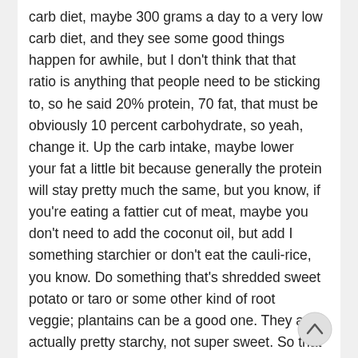carb diet, maybe 300 grams a day to a very low carb diet, and they see some good things happen for awhile, but I don't think that that ratio is anything that people need to be sticking to, so he said 20% protein, 70 fat, that must be obviously 10 percent carbohydrate, so yeah, change it. Up the carb intake, maybe lower your fat a little bit because generally the protein will stay pretty much the same, but you know, if you're eating a fattier cut of meat, maybe you don't need to add the coconut oil, but add I something starchier or don't eat the cauli-rice, you know. Do something that's shredded sweet potato or taro or some other kind of root veggie; plantains can be a good one. They are actually pretty starchy, not super sweet. So that might be useful for him, but I wanted to see if there's anything else he was kind of asking about that.
You know on the flip side of this, this is kind of the same thing I used to experience before I would eat